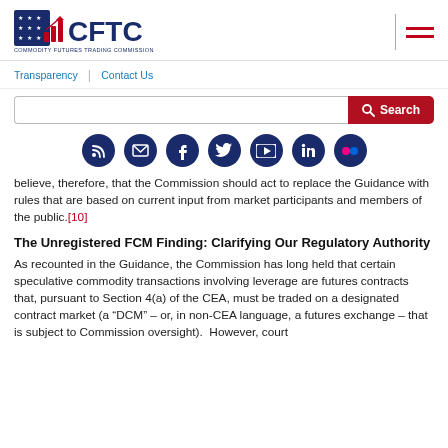[Figure (logo): CFTC logo with stars and bar chart icon, text 'COMMODITY FUTURES TRADING COMMISSION']
[Figure (infographic): Navigation hamburger menu icon (three red horizontal lines) with vertical divider]
Transparency | Contact Us
[Figure (infographic): Search bar with red Search button and magnifying glass icon]
[Figure (infographic): Row of 7 social media icons (RSS, email, Facebook, Twitter, YouTube, LinkedIn, Flickr) as dark navy circles]
believe, therefore, that the Commission should act to replace the Guidance with rules that are based on current input from market participants and members of the public.[10]
The Unregistered FCM Finding: Clarifying Our Regulatory Authority
As recounted in the Guidance, the Commission has long held that certain speculative commodity transactions involving leverage are futures contracts that, pursuant to Section 4(a) of the CEA, must be traded on a designated contract market (a “DCM” – or, in non-CEA language, a futures exchange – that is subject to Commission oversight).  However, court